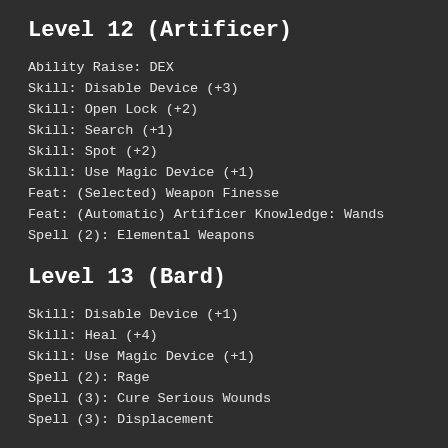Level 12 (Artificer)
Ability Raise: DEX
Skill: Disable Device (+3)
Skill: Open Lock (+2)
Skill: Search (+1)
Skill: Spot (+2)
Skill: Use Magic Device (+1)
Feat: (Selected) Weapon Finesse
Feat: (Automatic) Artificer Knowledge: Wands
Spell (2): Elemental Weapons
Level 13 (Bard)
Skill: Disable Device (+1)
Skill: Heal (+4)
Skill: Use Magic Device (+1)
Spell (2): Rage
Spell (3): Cure Serious Wounds
Spell (3): Displacement